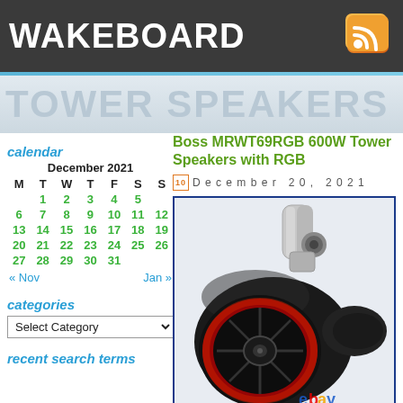WAKEBOARD
TOWER SPEAKERS
calendar
| M | T | W | T | F | S | S |
| --- | --- | --- | --- | --- | --- | --- |
|  | 1 | 2 | 3 | 4 | 5 |  |
| 6 | 7 | 8 | 9 | 10 | 11 | 12 |
| 13 | 14 | 15 | 16 | 17 | 18 | 19 |
| 20 | 21 | 22 | 23 | 24 | 25 | 26 |
| 27 | 28 | 29 | 30 | 31 |  |  |
« Nov    Jan »
categories
Select Category
recent search terms
Boss MRWT69RGB 600W Tower Speakers with RGB
December 20, 2021
[Figure (photo): Boss MRWT69RGB wakeboard tower speaker - black oval enclosure with red LED illuminated grille and chrome mounting bracket, shown on white background with ebay watermark]